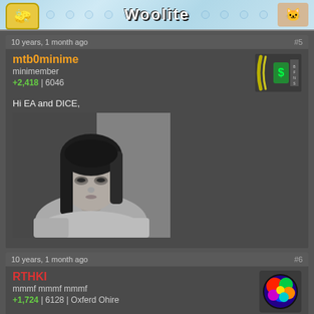[Figure (illustration): Woolite forum banner with cartoon sponge character on left, cat on right, bubbles, and 'Woolite' text in center on blue background]
10 years, 1 month ago
#5
mtb0minime
minimember
+2,418 | 6046
[Figure (illustration): Forum user badge/avatar with gold coin and dollar sign icon]
Hi EA and DICE,
[Figure (photo): Black and white photo of a young woman with dark hair looking downward]
10 years, 1 month ago
#6
RTHKI
mmmf mmmf mmmf
+1,724 | 6128 | Oxferd Ohire
[Figure (illustration): Colorful forum avatar with rainbow/multicolored blob character]
mtb we shud play bf?